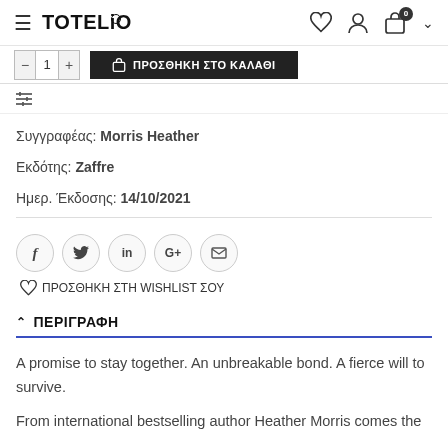TOTELiO | navigation bar with wishlist, account, and cart icons
[Figure (screenshot): Partial add-to-cart bar with quantity selector and ΠΡΟΣΘΗΚΗ ΣΤΟ ΚΑΛΑΘΙ button]
[Figure (screenshot): Filter/sort icon bar]
Συγγραφέας: Morris Heather
Εκδότης: Zaffre
Ημερ. Έκδοσης: 14/10/2021
[Figure (screenshot): Social sharing buttons: Facebook, Twitter, LinkedIn, Google+, Email; and ΠΡΟΣΘΗΚΗ ΣΤΗ WISHLIST ΣΟΥ link]
ΠΕΡΙΓΡΑΦΗ
A promise to stay together. An unbreakable bond. A fierce will to survive.

From international bestselling author Heather Morris comes the